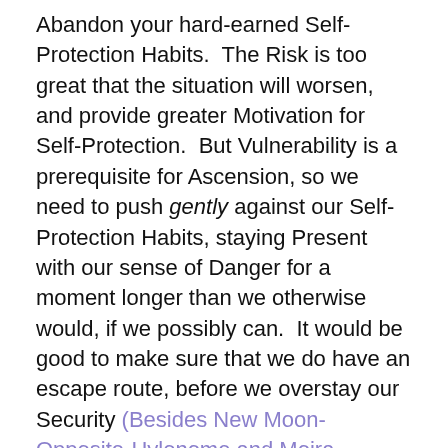Abandon your hard-earned Self-Protection Habits.  The Risk is too great that the situation will worsen, and provide greater Motivation for Self-Protection.  But Vulnerability is a prerequisite for Ascension, so we need to push gently against our Self-Protection Habits, staying Present with our sense of Danger for a moment longer than we otherwise would, if we possibly can.  It would be good to make sure that we do have an escape route, before we overstay our Security (Besides New Moon-Opposite-Hylonome and Moira-Opposite-Eurydike, the third Opposition in the Yin Gate is Orcus-Nessus).
We may also Encounter our Anger in situations that may or may not make much Present-Moment sense to us.  If you find yourself Angry, or Frustrated, or Agitated, or Anxious, see if you can Sit with it and try to Quiet your mind.  The Energy has an Important Message for us about